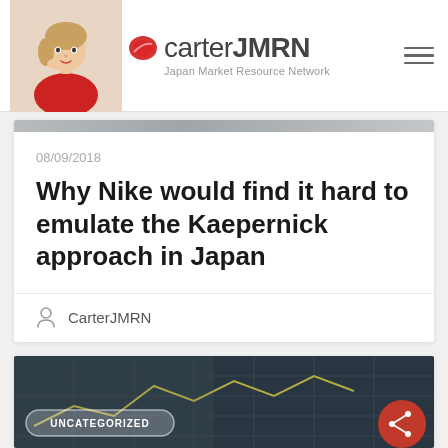carterJMRN Japan Market Resource Network
08/09/2018
Why Nike would find it hard to emulate the Kaepernick approach in Japan
CarterJMRN
[Figure (screenshot): Partial view of second article card with building image background and UNCATEGORIZED badge]